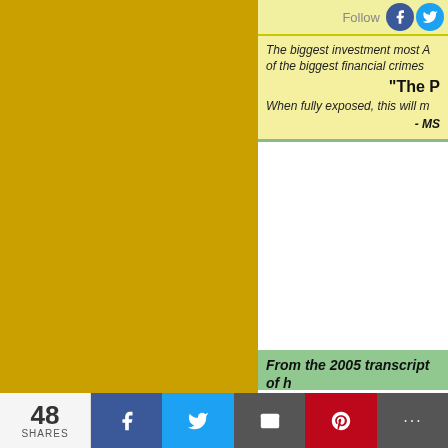Follow
The biggest investment most A... of the biggest financial crimes
"The P
When fully exposed, this will m
- MS
From the 2005 transcript of h
"It truly concerns me, however, thousands and thousands of mo... filed with these allegations. I a... these people would have were ... not ever the proper party notwi... have been in default what their... certain with the satisfaction of... behalf of MERS how good tho... title to property is that people b... turns or becomes established th
48 SHARES